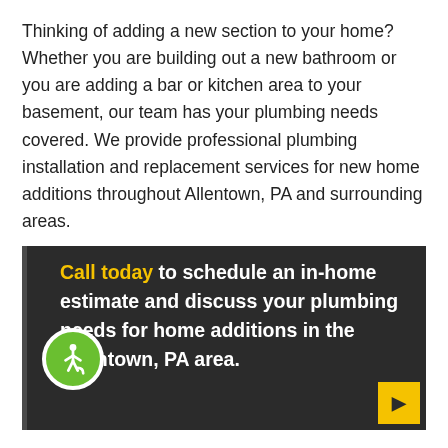Thinking of adding a new section to your home? Whether you are building out a new bathroom or you are adding a bar or kitchen area to your basement, our team has your plumbing needs covered. We provide professional plumbing installation and replacement services for new home additions throughout Allentown, PA and surrounding areas.
Call today to schedule an in-home estimate and discuss your plumbing needs for home additions in the Allentown, PA area.